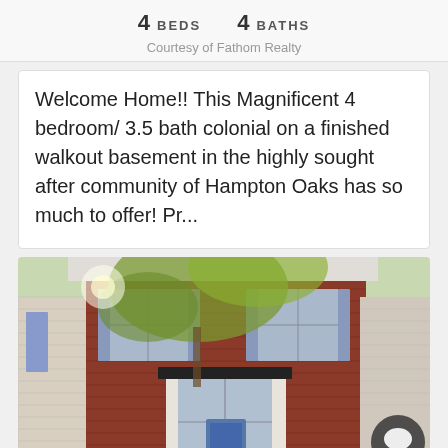4 BEDS    4 BATHS
Courtesy of Fathom Realty
Welcome Home!! This Magnificent 4 bedroom/ 3.5 bath colonial on a finished walkout basement in the highly sought after community of Hampton Oaks has so much to offer! Pr...
[Figure (photo): Exterior photo of a brick colonial-style home with blue/grey shutters, bay window, and trees in foreground]